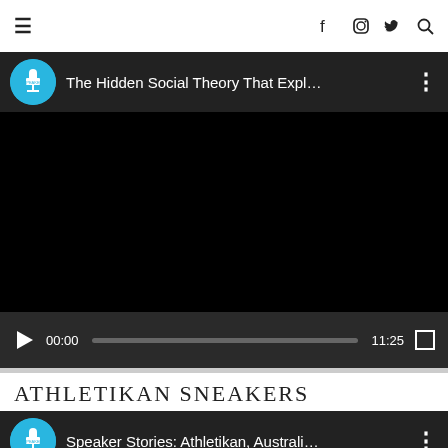≡  f  [instagram]  [twitter]  [search]
[Figure (screenshot): YouTube-style video player showing 'The Hidden Social Theory That Expl...' with channel icon, black video area, and playback controls showing 00:00 / 11:25]
ATHLETIKAN SNEAKERS
[Figure (screenshot): YouTube-style video player showing 'Speaker Stories: Athletikan, Australi...' with channel icon and black video area]